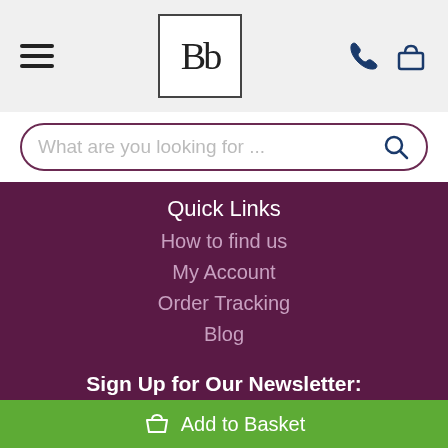[Figure (logo): Bb logo in a square border, top center of header]
What are you looking for ...
Quick Links
How to find us
My Account
Order Tracking
Blog
Sign Up for Our Newsletter:
Enter your email address
Add to Basket